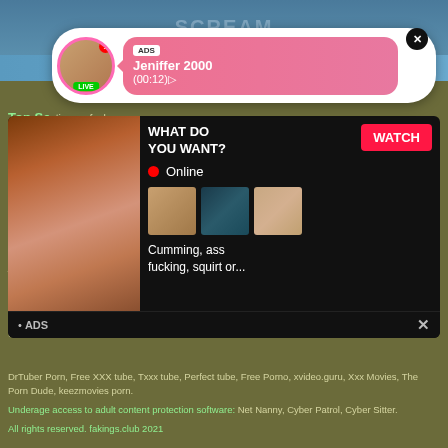[Figure (screenshot): Adult streaming website advertisement screenshot showing a live notification popup with user 'Jeniffer 2000', a 'WHAT DO YOU WANT?' overlay ad with WATCH button, Online indicator, thumbnail images, text 'Cumming, ass fucking, squirt or...' and ADS label, overlaid on a page showing Top Searches text]
Top Searches ... fuck sister hom... marwad... group sex with love... hijo teniendo... om usa porno, c... ther sister se... ketrina kaif, ref... re sex video, xx... xxx moo, ma... jovensita... dwonloa... allu mms sexy videos, old mom yong sun sex video, bathroom sex video of the leigh darby, melons sex video, new sex video with boyfriend, massage ful sex, mather sex in law, public gropeing, mature busty pov, www police sex,
DrTuber Porn, Free XXX tube, Txxx tube, Perfect tube, Free Porno, xvideo.guru, Xxx Movies, The Porn Dude, keezmovies porn.
Underage access to adult content protection software: Net Nanny, Cyber Patrol, Cyber Sitter.
All rights reserved. fakings.club 2021